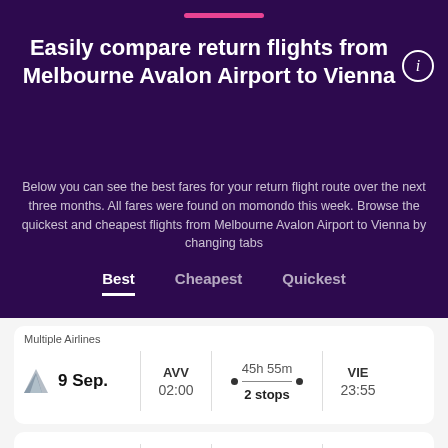Easily compare return flights from Melbourne Avalon Airport to Vienna
Below you can see the best fares for your return flight route over the next three months. All fares were found on momondo this week. Browse the quickest and cheapest flights from Melbourne Avalon Airport to Vienna by changing tabs
Best | Cheapest | Quickest
Multiple Airlines
9 Sep. | AVV 02:00 | 45h 55m, 2 stops | VIE 23:55
15 Nov. | VIE 10:10 | 32h 30m | AVV 18:40